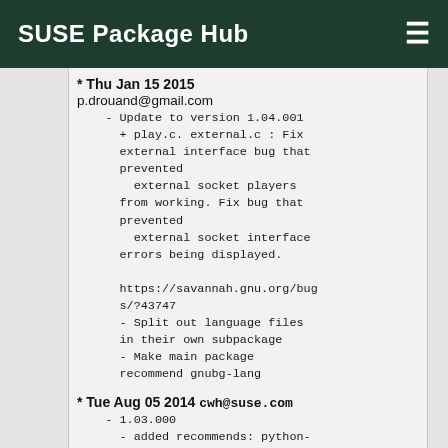SUSE Package Hub
* Thu Jan 15 2015 p.drouand@gmail.com
    - Update to version 1.04.001
      + play.c. external.c : Fix external interface bug that prevented
        external socket players from working. Fix bug that prevented
        external socket interface errors being displayed.

      https://savannah.gnu.org/bugs/?43747
    - Split out language files in their own subpackage
    - Make main package recommend gnubg-lang
* Tue Aug 05 2014 cwh@suse.com
    - 1.03.000
    - added recommends: python-MySQL-python
    - removed patches docdir.patch and glu.patch since these things
        are now fixed upstream.
* Wed Sep 18 2013 cwh@suse.com
    - Leaving tarball as gz